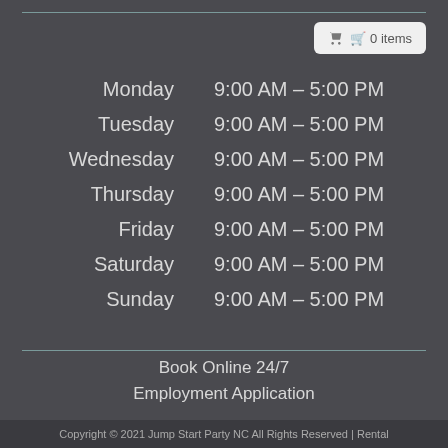| Day | Hours |
| --- | --- |
| Monday | 9:00 AM – 5:00 PM |
| Tuesday | 9:00 AM – 5:00 PM |
| Wednesday | 9:00 AM – 5:00 PM |
| Thursday | 9:00 AM – 5:00 PM |
| Friday | 9:00 AM – 5:00 PM |
| Saturday | 9:00 AM – 5:00 PM |
| Sunday | 9:00 AM – 5:00 PM |
Book Online 24/7
Employment Application
Copyright © 2021 Jump Start Party NC All Rights Reserved | Rental